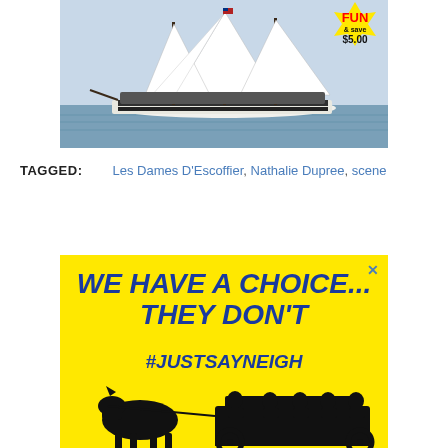[Figure (photo): A large sailboat with white sails on open water, crowded with passengers. In the upper right corner there is a yellow starburst graphic with red text 'FUN' and black text '& save $5.00'.]
TAGGED:   Les Dames D'Escoffier, Nathalie Dupree, scene
[Figure (illustration): Advertisement with bright yellow background. Blue bold italic text reads 'WE HAVE A CHOICE... THEY DON'T' and '#JUSTSAYNEIGH'. Black silhouette of a horse pulling a carriage with passengers.]